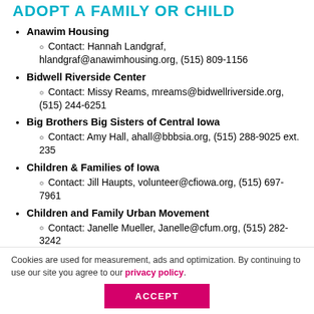ADOPT A FAMILY OR CHILD
Anawim Housing
Contact: Hannah Landgraf, hlandgraf@anawimhousing.org, (515) 809-1156
Bidwell Riverside Center
Contact: Missy Reams, mreams@bidwellriverside.org, (515) 244-6251
Big Brothers Big Sisters of Central Iowa
Contact: Amy Hall, ahall@bbbsia.org, (515) 288-9025 ext. 235
Children & Families of Iowa
Contact: Jill Haupts, volunteer@cfiowa.org, (515) 697-7961
Children and Family Urban Movement
Contact: Janelle Mueller, Janelle@cfum.org, (515) 282-3242
Cookies are used for measurement, ads and optimization. By continuing to use our site you agree to our privacy policy.
ACCEPT